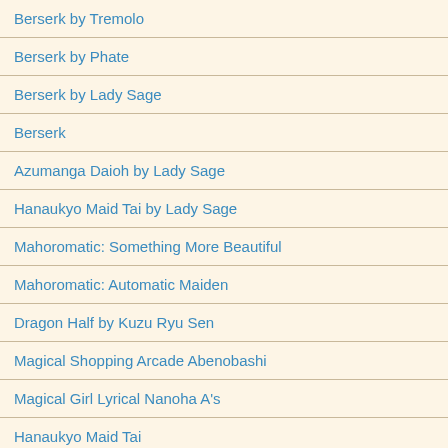Berserk by Tremolo
Berserk by Phate
Berserk by Lady Sage
Berserk
Azumanga Daioh by Lady Sage
Hanaukyo Maid Tai by Lady Sage
Mahoromatic: Something More Beautiful
Mahoromatic: Automatic Maiden
Dragon Half by Kuzu Ryu Sen
Magical Shopping Arcade Abenobashi
Magical Girl Lyrical Nanoha A's
Hanaukyo Maid Tai
Magical Girl Lyrical Nanoha
Hanaukyo Maid Tai by Orax